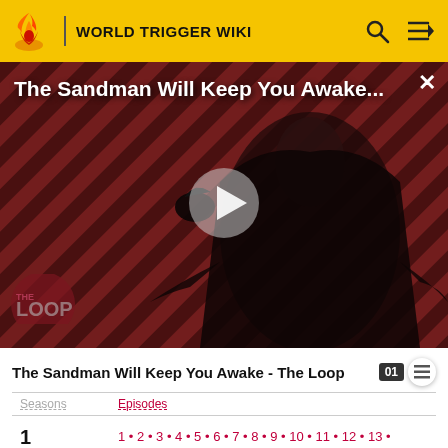WORLD TRIGGER WIKI
[Figure (screenshot): Video thumbnail showing a dark-cloaked figure against a diagonal striped red/dark background with THE LOOP logo overlay and a play button in the center. Title overlay reads 'The Sandman Will Keep You Awake...']
The Sandman Will Keep You Awake - The Loop
| Seasons | Episodes |
| --- | --- |
| 1 | 1 • 2 • 3 • 4 • 5 • 6 • 7 • 8 • 9 • 10 • 11 • 12 • 13 • 14 • 15 • 16 • 17 • 18 • 19 • 20 • 21 • 22 • 23 • 24 • 25 • 26 • 27 • 28 • 29 • 30 • 31 • 32 • 33 • 34 • 35 • |